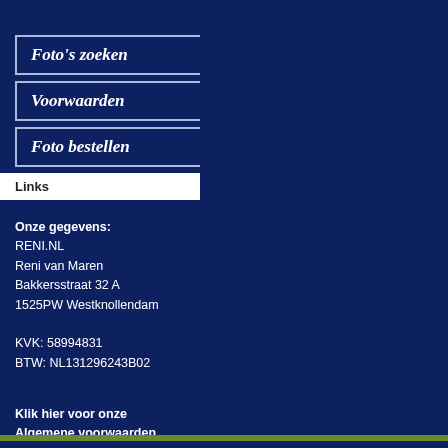[Figure (screenshot): Navigation button with italic bold text 'Foto’s zoeken' on dark blue background with border]
[Figure (screenshot): Navigation button with italic bold text 'Voorwaarden' on dark blue background with border]
[Figure (screenshot): Navigation button with italic bold text 'Foto bestellen' on dark blue background with border]
Links
Onze gegevens:
RENI.NL
Reni van Maren
Bakkersstraat 32 A
1525PW Westknollendam

KVK: 58994831
BTW: NL131296243B02
Klik hier voor onze
Algemene voorwaarden